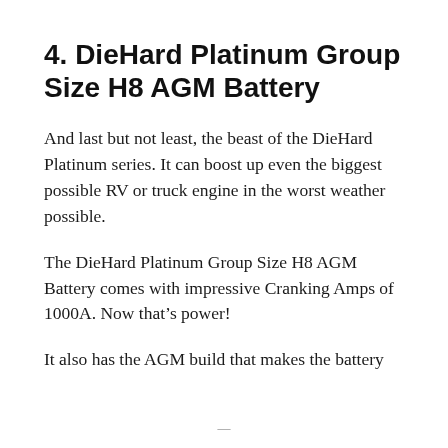4. DieHard Platinum Group Size H8 AGM Battery
And last but not least, the beast of the DieHard Platinum series. It can boost up even the biggest possible RV or truck engine in the worst weather possible.
The DieHard Platinum Group Size H8 AGM Battery comes with impressive Cranking Amps of 1000A. Now that’s power!
It also has the AGM build that makes the battery